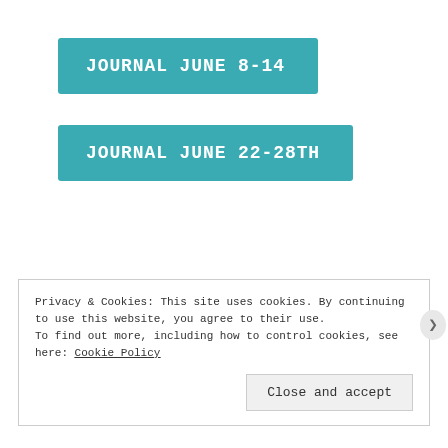JOURNAL JUNE 8-14
JOURNAL JUNE 22-28TH
Privacy & Cookies: This site uses cookies. By continuing to use this website, you agree to their use.
To find out more, including how to control cookies, see here: Cookie Policy
Close and accept